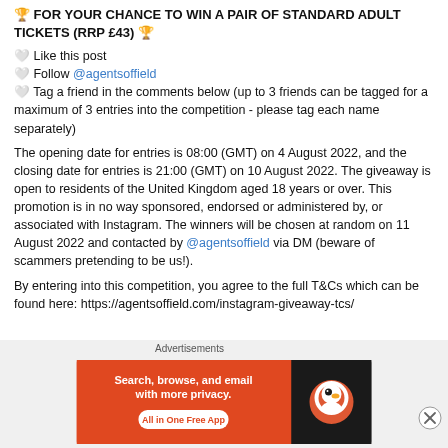🏆 FOR YOUR CHANCE TO WIN A PAIR OF STANDARD ADULT TICKETS (RRP £43) 🏆
🤍 Like this post
🤍 Follow @agentsoffield
🤍 Tag a friend in the comments below (up to 3 friends can be tagged for a maximum of 3 entries into the competition - please tag each name separately)
The opening date for entries is 08:00 (GMT) on 4 August 2022, and the closing date for entries is 21:00 (GMT) on 10 August 2022. The giveaway is open to residents of the United Kingdom aged 18 years or over. This promotion is in no way sponsored, endorsed or administered by, or associated with Instagram. The winners will be chosen at random on 11 August 2022 and contacted by @agentsoffield via DM (beware of scammers pretending to be us!).
By entering into this competition, you agree to the full T&Cs which can be found here: https://agentsoffield.com/instagram-giveaway-tcs/
Advertisements
[Figure (screenshot): DuckDuckGo advertisement banner: orange background with text 'Search, browse, and email with more privacy. All in One Free App' and DuckDuckGo logo on dark right panel]